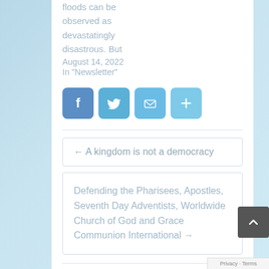floods can be observed as devastatingly disastrous. But
August 14, 2022
In "Newsletter"
[Figure (other): Social sharing buttons: Facebook, Twitter, Email, and a Plus/More button]
← A kingdom is not a democracy
Defending the Pharisees, Apostles, Seventh Day Adventists, Worldwide Church of God and Grace Communion International →
One thought on “False date stripping, towards